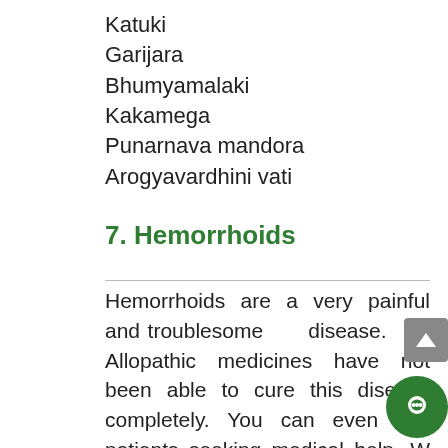Katuki
Garijara
Bhumyamalaki
Kakamega
Punarnava mandora
Arogyavardhini vati
7. Hemorrhoids
Hemorrhoids are a very painful and troublesome disease. Allopathic medicines have not been able to cure this disease completely. You can even see patients seeking medical help. What people don't know is that it can be healed through Ayurveda. It falls on the category